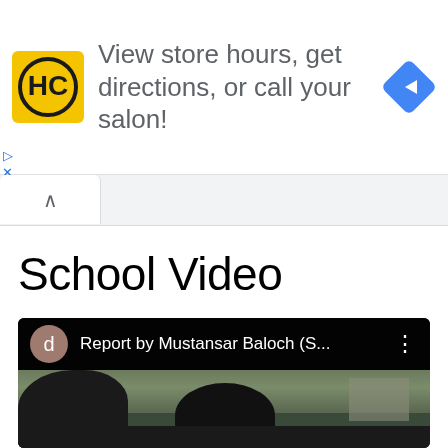[Figure (screenshot): Advertisement banner for a salon service showing HC logo, text 'View store hours, get directions, or call your salon!', and a blue navigation diamond icon. Small play and close controls at bottom left.]
School Video
[Figure (screenshot): Video player showing dark header bar with 'd' avatar circle, title 'Report by Mustansar Baloch (S...', and a three-dot menu. Below is a blurry video thumbnail showing two people with dark clothing and a building in background.]